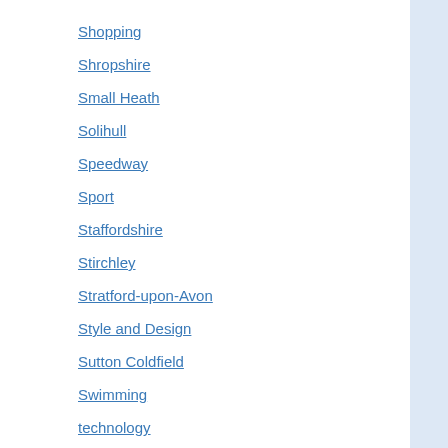Shopping
Shropshire
Small Heath
Solihull
Speedway
Sport
Staffordshire
Stirchley
Stratford-upon-Avon
Style and Design
Sutton Coldfield
Swimming
technology
Television
Tennis
The Debate